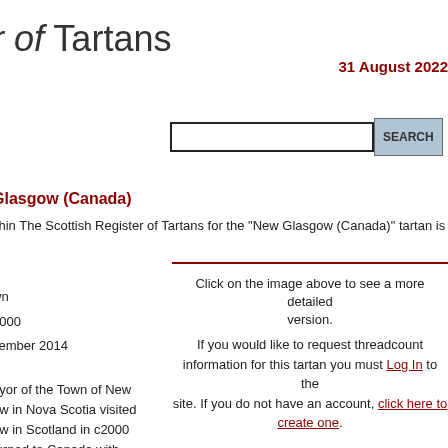r of Tartans
31 August 2022
[Figure (screenshot): Search bar with text input and SEARCH button]
Glasgow (Canada)
ithin The Scottish Register of Tartans for the "New Glasgow (Canada)" tartan is
Click on the image above to see a more detailed version.
If you would like to request threadcount information for this tartan you must Log In to the site. If you do not have an account, click here to create one.
wn
2000
vember 2014
:
ayor of the Town of New
ow in Nova Scotia visited
ow in Scotland in c2000
turned to Canada with
artan, a gift to New